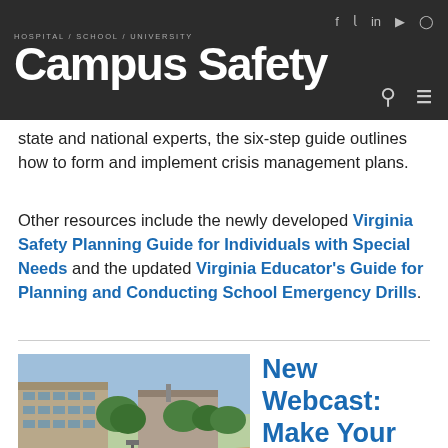Campus Safety — HOSPITAL / SCHOOL / UNIVERSITY
state and national experts, the six-step guide outlines how to form and implement crisis management plans.
Other resources include the newly developed Virginia Safety Planning Guide for Individuals with Special Needs and the updated Virginia Educator's Guide for Planning and Conducting School Emergency Drills.
[Figure (photo): Outdoor campus photo showing brick building, walkway, green lawn, a lamp post, and students walking]
New Webcast: Make Your Campus More